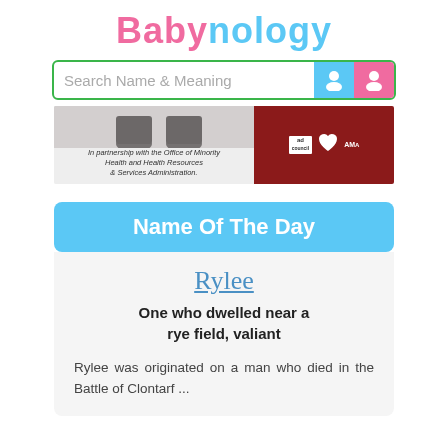Babynology
[Figure (screenshot): Search bar with text 'Search Name & Meaning' and boy/girl icons]
[Figure (photo): Advertisement banner: In partnership with the Office of Minority Health and Health Resources & Services Administration. Features ad council and American Heart Association logos.]
Name Of The Day
Rylee
One who dwelled near a rye field, valiant
Rylee was originated on a man who died in the Battle of Clontarf ...